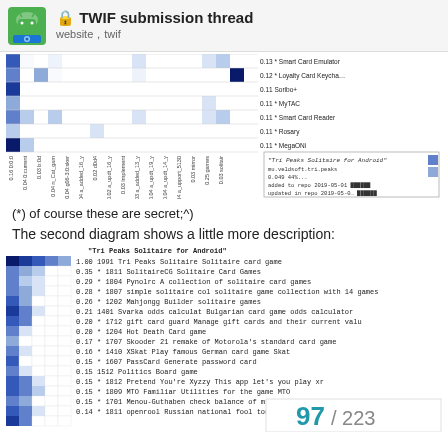TWIF submission thread
website, twif
[Figure (other): Heatmap matrix showing app similarity scores with row labels (Smart Card Emulator 0.13, Loyalty Card Keychain 0.12, Soribo+ 0.11, MyTAC 0.11, Smart Card Reader 0.11, Rosary 0.11, MegaONI 0.11) and column axis labels, with a tooltip popup showing 'Tri Peaks Solitaire for Android' app info]
(*) of course these are secret;^)
The second diagram shows a little more description:
[Figure (other): Second heatmap diagram with title 'Tri Peaks Solitaire for Android' showing color-coded similarity bars on the left and a list of similar apps with scores: 1.00 1991 Tri Peaks Solitaire, 0.35* 1811 SolitaireCG, 0.29* 1804 Pynolrc, 0.28* 1807 simple solitaire col, 0.26* 1202 Mahjongg Builder, 0.21 1401 Svarka odds calculat, 0.20* 1712 gift card guard, 0.20* 1204 Hot Death, 0.17* 1707 Skooder 21, 0.16* 1410 XSkat, 0.15* 1607 PassCard, 0.15 1512 Politics, 0.15* 1812 Pretend You're Xyzzy, 0.15* 1809 MTO Familiar, 0.15* 1701 Menou-Guthaben, 0.14* 1811 openrool]
97 / 223